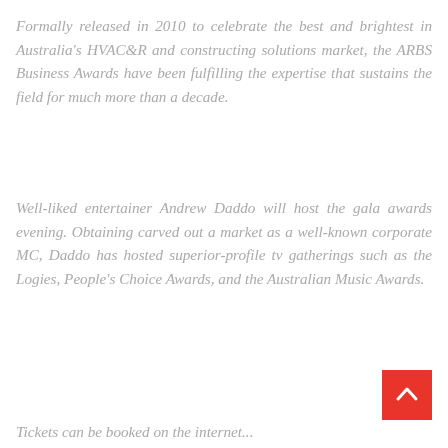Formally released in 2010 to celebrate the best and brightest in Australia's HVAC&R and constructing solutions market, the ARBS Business Awards have been fulfilling the expertise that sustains the field for much more than a decade.
Well-liked entertainer Andrew Daddo will host the gala awards evening. Obtaining carved out a market as a well-known corporate MC, Daddo has hosted superior-profile tv gatherings such as the Logies, People's Choice Awards, and the Australian Music Awards.
Tickets can be booked on the internet...